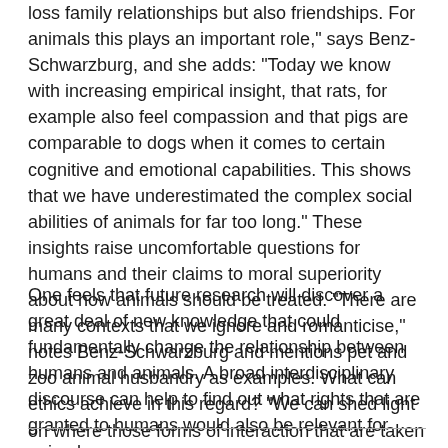loss family relationships but also friendships. For animals this plays an important role," says Benz-Schwarzburg, and she adds: "Today we know with increasing empirical insight, that rats, for example also feel compassion and that pigs are comparable to dogs when it comes to certain cognitive and emotional capabilities. This shows that we have underestimated the complex social abilities of animals for far too long." These insights raise uncomfortable questions for humans and their claims to moral superiority about how animals should be treated. "There are many contexts that we ignore and romanticise," notes Benz-Schwarzburg and mentions pet and zoo animal husbandry as examples. What can ethics achieve in this regard? "We can shed light on where those forms of interaction that are taken for granted become dubious and we can explain why this is so."
One feels that future research will discover a great deal of new knowledge that could fundamentally change the relationship between humans and animals. A broad interdisciplinary discourse can help to find out what rights that are granted to humans would also be relevant for animals.